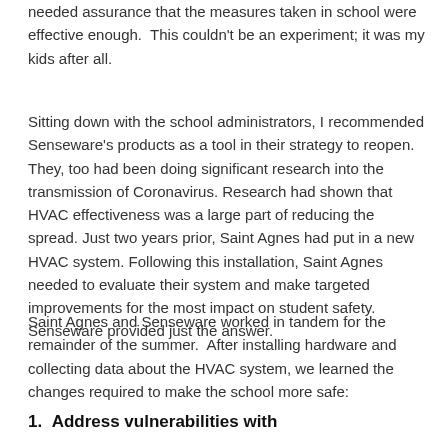needed assurance that the measures taken in school were effective enough.  This couldn't be an experiment; it was my kids after all.
Sitting down with the school administrators, I recommended Senseware's products as a tool in their strategy to reopen. They, too had been doing significant research into the transmission of Coronavirus. Research had shown that HVAC effectiveness was a large part of reducing the spread. Just two years prior, Saint Agnes had put in a new HVAC system. Following this installation, Saint Agnes needed to evaluate their system and make targeted improvements for the most impact on student safety.  Senseware provided just the answer.
Saint Agnes and Senseware worked in tandem for the remainder of the summer.  After installing hardware and collecting data about the HVAC system, we learned the changes required to make the school more safe:
1.  Address vulnerabilities with